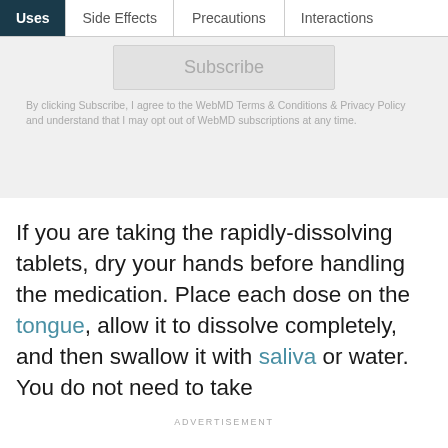Uses | Side Effects | Precautions | Interactions
Subscribe
By clicking Subscribe, I agree to the WebMD Terms & Conditions & Privacy Policy and understand that I may opt out of WebMD subscriptions at any time.
If you are taking the rapidly-dissolving tablets, dry your hands before handling the medication. Place each dose on the tongue, allow it to dissolve completely, and then swallow it with saliva or water. You do not need to take
ADVERTISEMENT